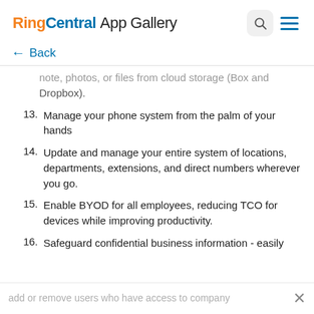RingCentral App Gallery
← Back
note, photos, or files from cloud storage (Box and Dropbox).
13. Manage your phone system from the palm of your hands
14. Update and manage your entire system of locations, departments, extensions, and direct numbers wherever you go.
15. Enable BYOD for all employees, reducing TCO for devices while improving productivity.
16. Safeguard confidential business information - easily
add or remove users who have access to company